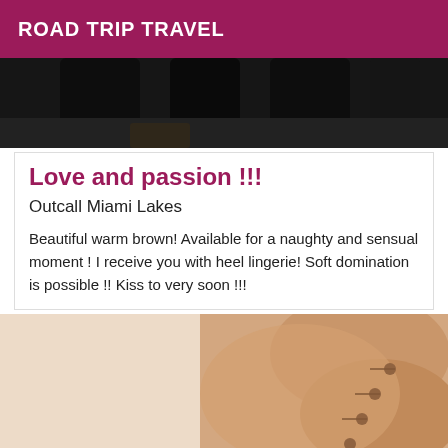ROAD TRIP TRAVEL
[Figure (photo): Top portion of a photo, dark background with dark objects visible]
Love and passion !!!
Outcall Miami Lakes
Beautiful warm brown! Available for a naughty and sensual moment ! I receive you with heel lingerie! Soft domination is possible !! Kiss to very soon !!!
[Figure (photo): Close-up photo of skin/body with buttons on clothing, skin-tone colored]